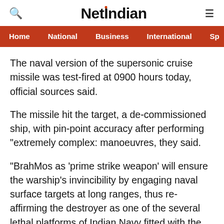NetIndian
Home | National | Business | International | Sp
The naval version of the supersonic cruise missile was test-fired at 0900 hours today, official sources said.
The missile hit the target, a de-commissioned ship, with pin-point accuracy after performing "extremely complex: manoeuvres, they said.
"BrahMos as 'prime strike weapon' will ensure the warship's invincibility by engaging naval surface targets at long ranges, thus re-affirming the destroyer as one of the several lethal platforms of Indian Navy fitted with the BrahMos system.